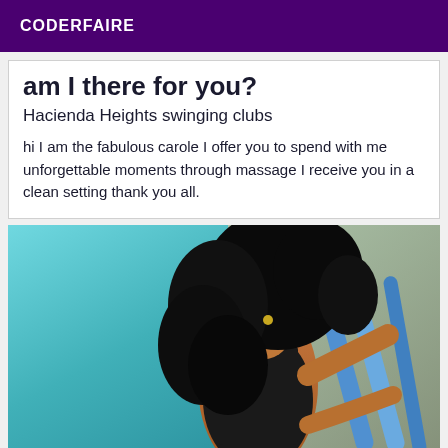CODERFAIRE
am I there for you?
Hacienda Heights swinging clubs
hi I am the fabulous carole I offer you to spend with me unforgettable moments through massage I receive you in a clean setting thank you all.
[Figure (photo): A woman with large curly black hair, wearing a black swimsuit, leaning beside blue pool railings near a swimming pool with turquoise water.]